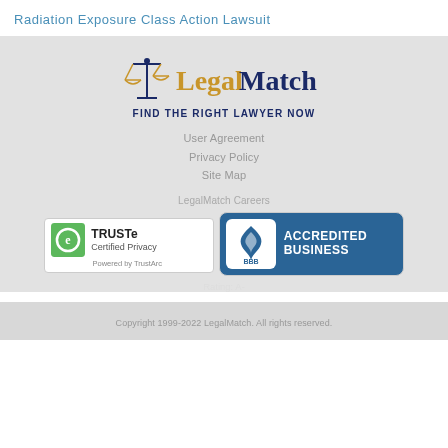Radiation Exposure Class Action Lawsuit
[Figure (logo): LegalMatch logo with scales of justice icon, gold 'Legal' and dark blue 'Match' text, and tagline 'FIND THE RIGHT LAWYER NOW']
User Agreement
Privacy Policy
Site Map
LegalMatch Careers
[Figure (logo): TRUSTe Certified Privacy badge - Powered by TrustArc]
[Figure (logo): BBB Accredited Business badge, Rating: A-]
Rating: A-
Copyright 1999-2022 LegalMatch. All rights reserved.